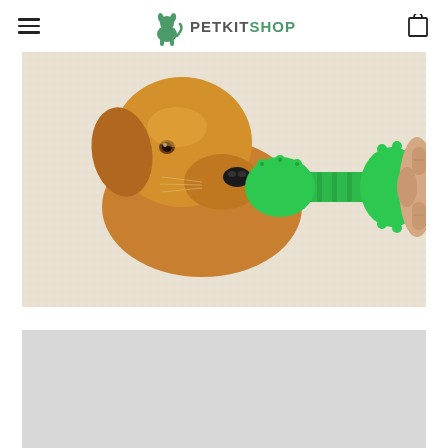PETKITSHOP
[Figure (photo): A golden retriever puppy biting on a green rubber spiky dog toothbrush/chew toy held by a human hand, on a white fluffy background.]
[Figure (photo): Second product image, mostly light gray/white, partially visible at bottom of page.]